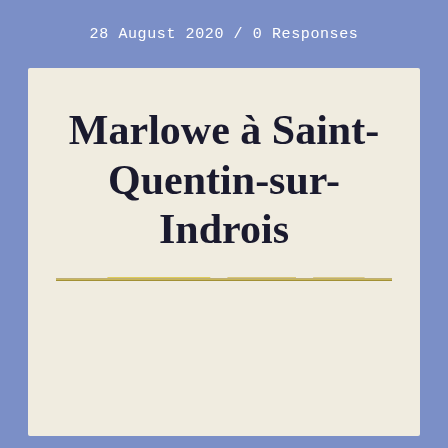28 August 2020 / 0 Responses
Marlowe à Saint-Quentin-sur-Indrois